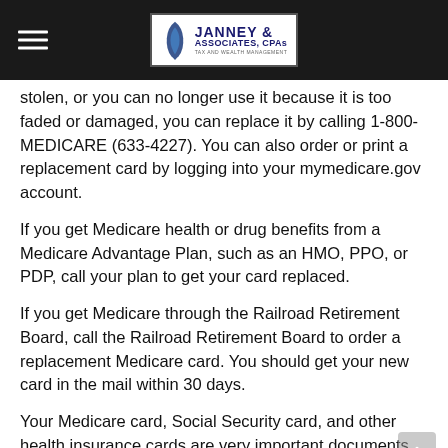Janney & Associates, CPAs — Tax and Wealth Management
stolen, or you can no longer use it because it is too faded or damaged, you can replace it by calling 1-800-MEDICARE (633-4227). You can also order or print a replacement card by logging into your mymedicare.gov account.
If you get Medicare health or drug benefits from a Medicare Advantage Plan, such as an HMO, PPO, or PDP, call your plan to get your card replaced.
If you get Medicare through the Railroad Retirement Board, call the Railroad Retirement Board to order a replacement Medicare card. You should get your new card in the mail within 30 days.
Your Medicare card, Social Security card, and other health insurance cards are very important documents. Make sure